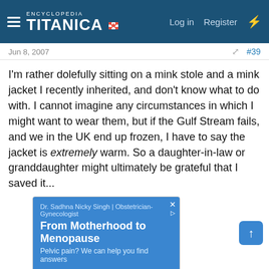Encyclopedia Titanica — Log in | Register
Jun 8, 2007   #39
I'm rather dolefully sitting on a mink stole and a mink jacket I recently inherited, and don't know what to do with. I cannot imagine any circumstances in which I might want to wear them, but if the Gulf Stream fails, and we in the UK end up frozen, I have to say the jacket is extremely warm. So a daughter-in-law or granddaughter might ultimately be grateful that I saved it...
[Figure (screenshot): Advertisement for Dr. Sadhna Nicky Singh | Obstetrician-Gynecologist with text 'From Motherhood to Menopause - Pelvic pain? We can help you find answers' and a Google Maps view showing Bonds Escape Room - Fairfax location, with Store info and Directions buttons at the bottom.]